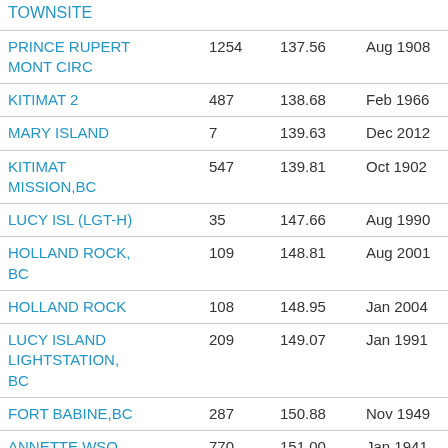| Name | Num | Dist | Date |  |
| --- | --- | --- | --- | --- |
| TOWNSITE |  |  |  |  |
| PRINCE RUPERT MONT CIRC | 1254 | 137.56 | Aug 1908 | O |
| KITIMAT 2 | 487 | 138.68 | Feb 1966 | Ja |
| MARY ISLAND | 7 | 139.63 | Dec 2012 | O |
| KITIMAT MISSION,BC | 547 | 139.81 | Oct 1902 | Fe |
| LUCY ISL (LGT-H) | 35 | 147.66 | Aug 1990 | Ap |
| HOLLAND ROCK, BC | 109 | 148.81 | Aug 2001 | De |
| HOLLAND ROCK | 108 | 148.95 | Jan 2004 | O |
| LUCY ISLAND LIGHTSTATION, BC | 209 | 149.07 | Jan 1991 | O |
| FORT BABINE,BC | 287 | 150.88 | Nov 1949 | Ju |
| ANNETTE WSO AP, AK | 770 | 151.00 | Jan 1941 | M |
| SHELTER COVE | 27 | 151.14 | Aug 1995 | Au |